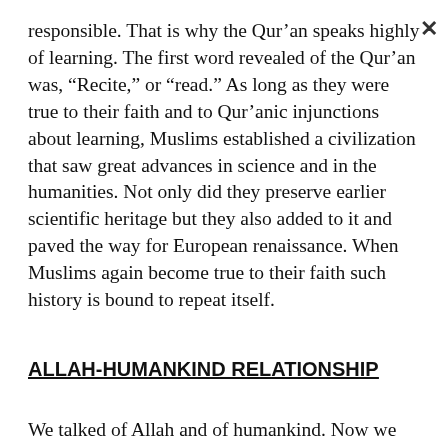responsible. That is why the Qur'an speaks highly of learning. The first word revealed of the Qur'an was, “Recite,” or “read.” As long as they were true to their faith and to Qur'anic injunctions about learning, Muslims established a civilization that saw great advances in science and in the humanities. Not only did they preserve earlier scientific heritage but they also added to it and paved the way for European renaissance. When Muslims again become true to their faith such history is bound to repeat itself.
ALLAH-HUMANKIND RELATIONSHIP
We talked of Allah and of humankind. Now we must ask what is their basic relationship. The